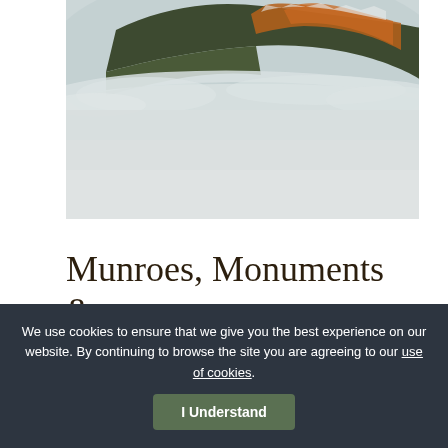[Figure (photo): Aerial view of misty mountain forest with orange and green conifer trees emerging through low clouds and fog]
Munroes, Monuments & Viewpoints
We use cookies to ensure that we give you the best experience on our website. By continuing to browse the site you are agreeing to our use of cookies.